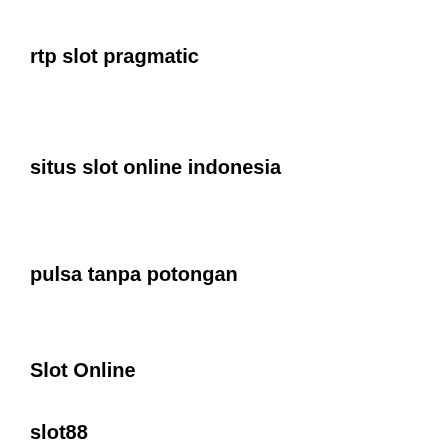rtp slot pragmatic
situs slot online indonesia
pulsa tanpa potongan
Slot Online
slot88